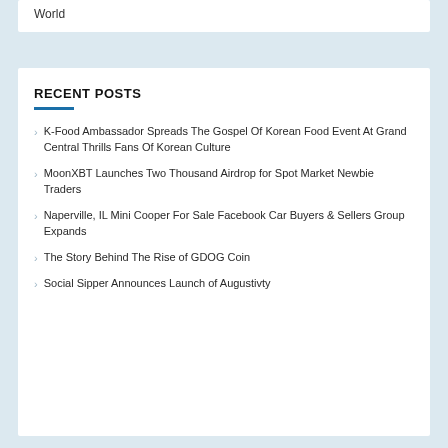World
RECENT POSTS
K-Food Ambassador Spreads The Gospel Of Korean Food Event At Grand Central Thrills Fans Of Korean Culture
MoonXBT Launches Two Thousand Airdrop for Spot Market Newbie Traders
Naperville, IL Mini Cooper For Sale Facebook Car Buyers & Sellers Group Expands
The Story Behind The Rise of GDOG Coin
Social Sipper Announces Launch of Augustivty